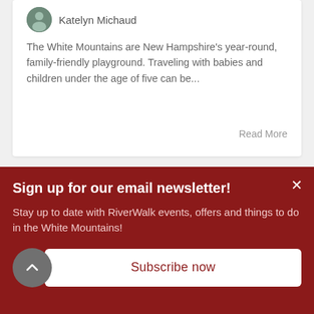Katelyn Michaud
The White Mountains are New Hampshire's year-round, family-friendly playground. Traveling with babies and children under the age of five can be...
Read More
[Figure (logo): Partial cursive script logo in dark red color, partially visible at the top of the newsletter popup section]
Sign up for our email newsletter!
Stay up to date with RiverWalk events, offers and things to do in the White Mountains!
Subscribe now